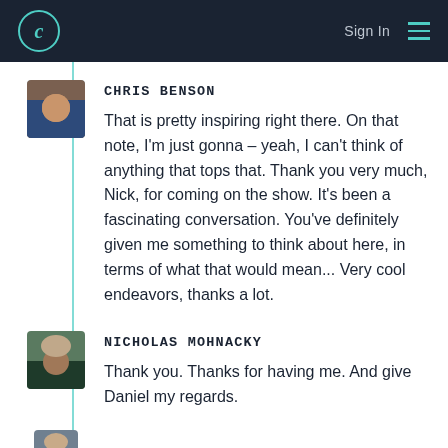C  Sign In
CHRIS BENSON
That is pretty inspiring right there. On that note, I'm just gonna – yeah, I can't think of anything that tops that. Thank you very much, Nick, for coming on the show. It's been a fascinating conversation. You've definitely given me something to think about here, in terms of what that would mean... Very cool endeavors, thanks a lot.
NICHOLAS MOHNACKY
Thank you. Thanks for having me. And give Daniel my regards.